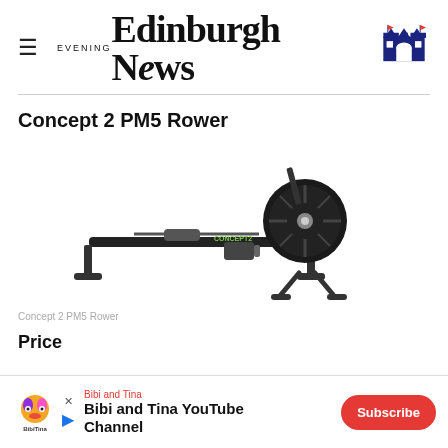Edinburgh Evening News
Concept 2 PM5 Rower
[Figure (photo): Product photo of the Concept 2 PM5 Rower rowing machine on a white background, showing the full machine from the side with a flywheel on the right, a sliding seat rail, and foot rests.]
Concept 2 PM5 Rower
Price
[Figure (other): Advertisement banner for Bibi and Tina YouTube Channel with a Subscribe button.]